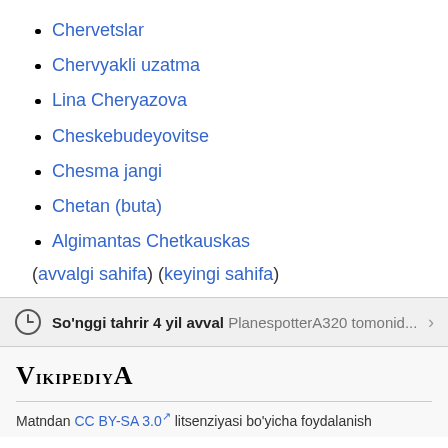Chervetslar
Chervyakli uzatma
Lina Cheryazova
Cheskebudeyovitse
Chesma jangi
Chetan (buta)
Algimantas Chetkauskas
(avvalgi sahifa) (keyingi sahifa)
So'nggi tahrir 4 yil avval PlanespotterA320 tomonid...
VikipediyA
Matndan CC BY-SA 3.0 litsenziyasi bo'yicha foydalanish